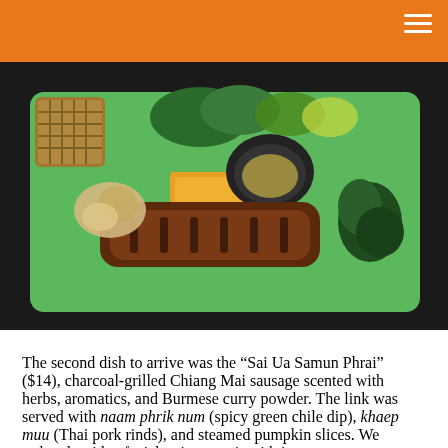[Figure (photo): A green square plate featuring charcoal-grilled Chiang Mai sausage (Sai Ua Samun Phrai) served with a small black bowl of dipping sauce, crispy pork rinds, steamed pumpkin slices, and dark leafy greens. A woven basket is visible in the background.]
The second dish to arrive was the “Sai Ua Samun Phrai” ($14), charcoal-grilled Chiang Mai sausage scented with herbs, aromatics, and Burmese curry powder. The link was served with naam phrik num (spicy green chile dip), khaep muu (Thai pork rinds), and steamed pumpkin slices. We ordered a side of sticky rice to pair with it as